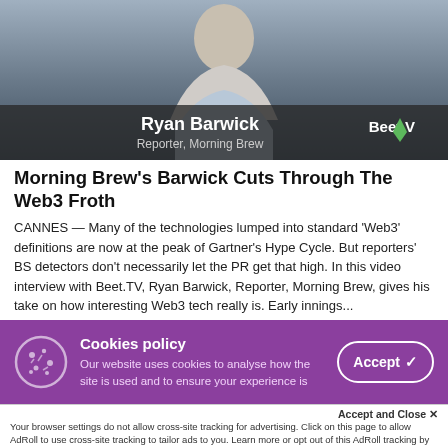[Figure (screenshot): Video thumbnail showing Ryan Barwick, Reporter at Morning Brew, with BeetTV logo overlay on dark background]
Morning Brew's Barwick Cuts Through The Web3 Froth
CANNES — Many of the technologies lumped into standard 'Web3' definitions are now at the peak of Gartner's Hype Cycle. But reporters' BS detectors don't necessarily let the PR get that high. In this video interview with Beet.TV, Ryan Barwick, Reporter, Morning Brew, gives his take on how interesting Web3 tech really is. Early innings...
Cookies policy
Our website uses cookies to analyse how the site is used and to ensure your experience is
Accept and Close ✕
Your browser settings do not allow cross-site tracking for advertising. Click on this page to allow AdRoll to use cross-site tracking to tailor ads to you. Learn more or opt out of this AdRoll tracking by clicking here. This message only appears once.